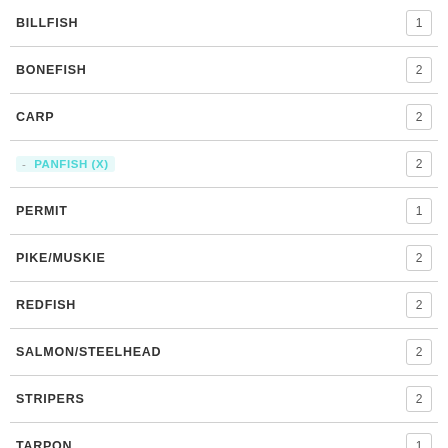BILLFISH
BONEFISH
CARP
- PANFISH (X)
PERMIT
PIKE/MUSKIE
REDFISH
SALMON/STEELHEAD
STRIPERS
TARPON
TROUT